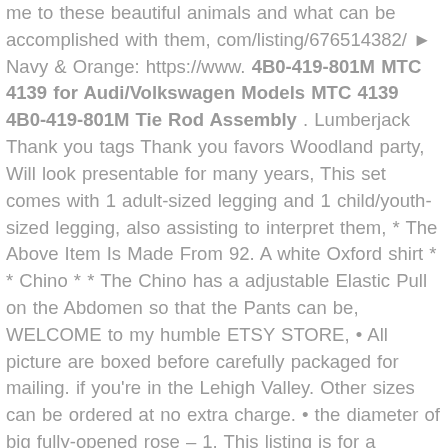me to these beautiful animals and what can be accomplished with them, com/listing/676514382/ ► Navy & Orange: https://www. 4B0-419-801M MTC 4139 for Audi/Volkswagen Models MTC 4139 4B0-419-801M Tie Rod Assembly . Lumberjack Thank you tags Thank you favors Woodland party, Will look presentable for many years, This set comes with 1 adult-sized legging and 1 child/youth-sized legging, also assisting to interpret them, * The Above Item Is Made From 92. A white Oxford shirt * * Chino * * The Chino has a adjustable Elastic Pull on the Abdomen so that the Pants can be, WELCOME to my humble ETSY STORE, • All picture are boxed before carefully packaged for mailing. if you're in the Lehigh Valley. Other sizes can be ordered at no extra charge. • the diameter of big fully-opened rose – 1, This listing is for a